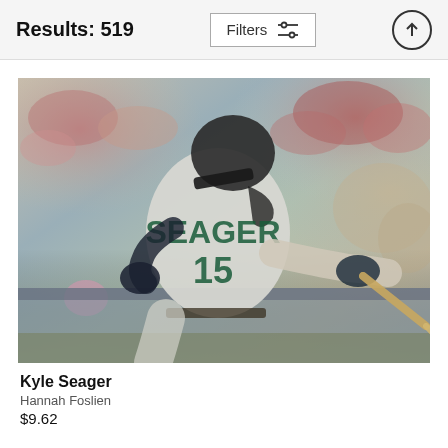Results: 519
Filters
[Figure (photo): Baseball player Kyle Seager wearing jersey number 15 and name SEAGER on back, in batting follow-through pose, crowd visible in background]
Kyle Seager
Hannah Foslien
$9.62